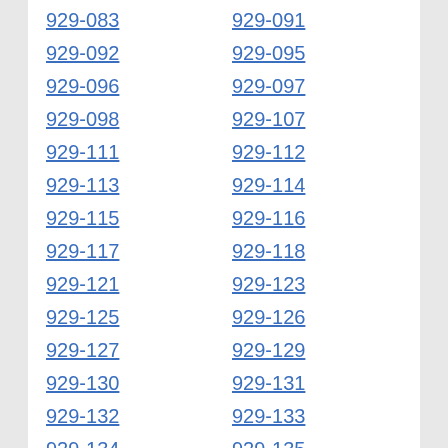929-083
929-091
929-092
929-095
929-096
929-097
929-098
929-107
929-111
929-112
929-113
929-114
929-115
929-116
929-117
929-118
929-121
929-123
929-125
929-126
929-127
929-129
929-130
929-131
929-132
929-133
929-134
929-135